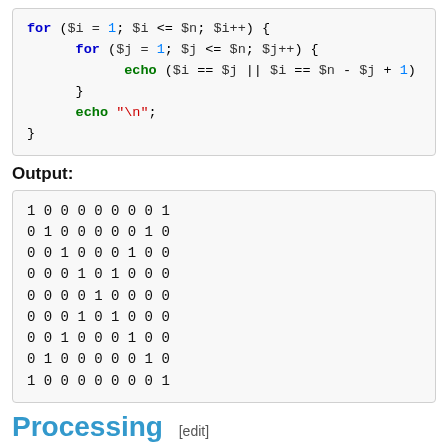for ($i = 1; $i <= $n; $i++) {
    for ($j = 1; $j <= $n; $j++) {
        echo ($i == $j || $i == $n - $j + 1)
    }
    echo "\n";
}
Output:
1 0 0 0 0 0 0 0 1
0 1 0 0 0 0 0 1 0
0 0 1 0 0 0 1 0 0
0 0 0 1 0 1 0 0 0
0 0 0 0 1 0 0 0 0
0 0 0 1 0 1 0 0 0
0 0 1 0 0 0 1 0 0
0 1 0 0 0 0 0 1 0
1 0 0 0 0 0 0 0 1
Processing [edit]